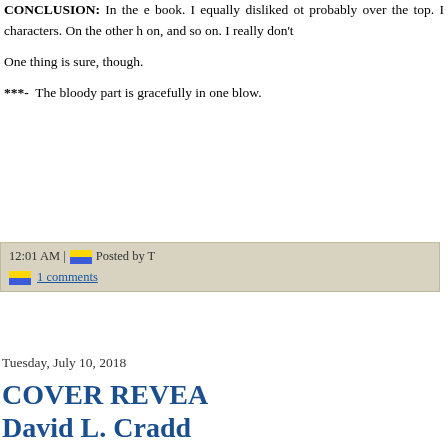CONCLUSION: In the e book. I equally disliked ot probably over the top. I characters. On the other h on, and so on. I really don't
One thing is sure, though.
***- The bloody part is gracefully in one blow.
12:01 AM | Posted by T
1 comments
Tuesday, July 10, 2018
COVER REVEA David L. Cradd Chronicles)